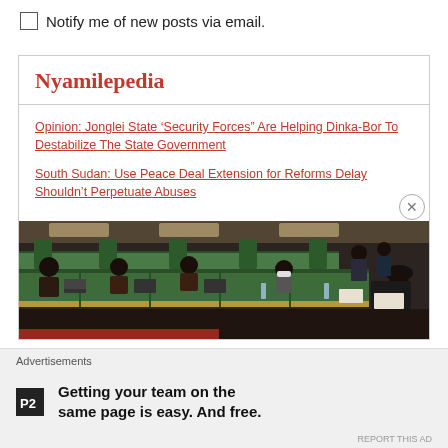Notify me of new posts via email.
Nyamilepedia
Opinion: Jonglei State ‘Security Forces” Are Helping Dinka-Bor To Destabilize The State Government
South Sudan: Use Peace Deal Extension for Reforms Delay Shouldn’t Perpetuate Abuses
[Figure (photo): A government or parliament meeting room with many people seated at long green-topped desks with laptops and documents. A man in a black hat is visible at the right.]
Advertisements
[Figure (logo): P2 logo - black square with white P and 2 text]
Getting your team on the same page is easy. And free.